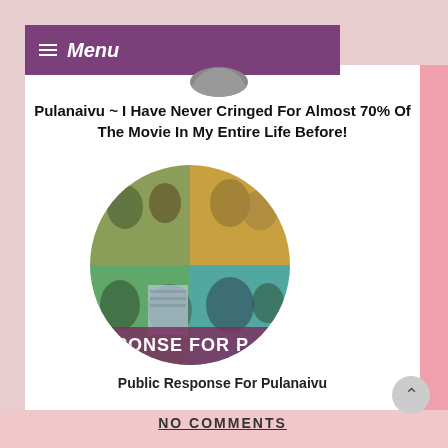≡ Menu
Pulanaivu ~ I Have Never Cringed For Almost 70% Of The Movie In My Entire Life Before!
[Figure (photo): Circular collage image showing multiple people in various poses, with text 'RESPONSE FOR P' overlaid at the bottom. People appear to be reacting to something, making 'okay' hand gestures.]
Public Response For Pulanaivu
NO COMMENTS